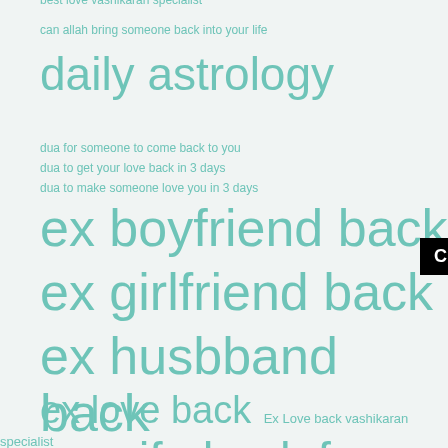best love vashikaran specialist
can allah bring someone back into your life
daily astrology
dua for someone to come back to you
dua to get your love back in 3 days
dua to make someone love you in 3 days
ex boyfriend back
ex girlfriend back
ex husbband back
ex love back  Ex Love back vashikaran specialist
ex wife back free astrology
hind astrology
hindi astrology hindi totke
Click to Consult on Whatsapp